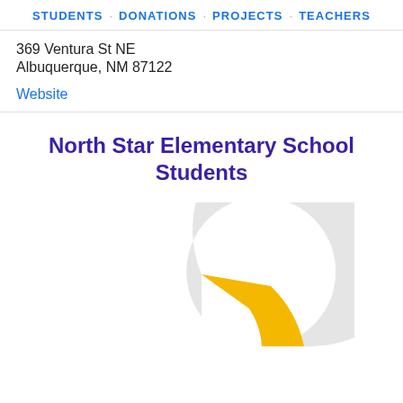STUDENTS · DONATIONS · PROJECTS · TEACHERS
369 Ventura St NE
Albuquerque, NM 87122
Website
North Star Elementary School Students
[Figure (donut-chart): Partial donut chart showing student breakdown for North Star Elementary School. A golden/yellow segment is visible at the top right, with a large light gray segment making up most of the chart. The chart is cut off at the bottom of the page.]